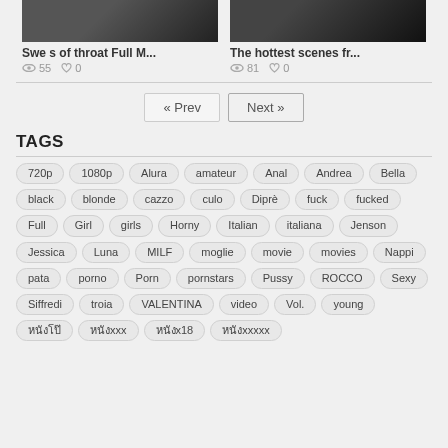[Figure (photo): Video thumbnail - dark image]
Swe s of throat Full M...
55 views, 0 likes
[Figure (photo): Video thumbnail - dark image]
The hottest scenes fr...
81 views, 0 likes
« Prev   Next »
TAGS
720p
1080p
Alura
amateur
Anal
Andrea
Bella
black
blonde
cazzo
culo
Diprè
fuck
fucked
Full
Girl
girls
Horny
Italian
italiana
Jenson
Jessica
Luna
MILF
moglie
movie
movies
Nappi
pata
porno
Porn
pornstars
Pussy
ROCCO
Sexy
Siffredi
troia
VALENTINA
video
Vol.
young
หนังโป๊
หนังxxx
หนังx18
หนังxxxxx